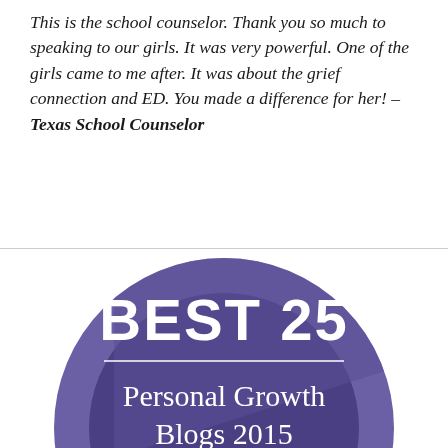This is the school counselor. Thank you so much to speaking to our girls. It was very powerful. One of the girls came to me after. It was about the grief connection and ED. You made a difference for her! – Texas School Counselor
[Figure (illustration): A circular badge with a dark purple/indigo background showing 'BEST 25' in large bold white text, a horizontal white dividing line, and 'Personal Growth Blogs 2015' in white text below.]